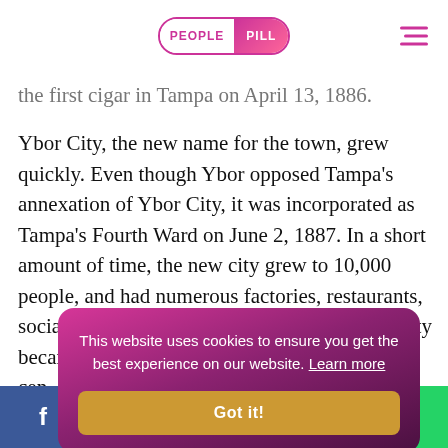PEOPLE PILL
the first cigar in Tampa on April 13, 1886.

Ybor City, the new name for the town, grew quickly. Even though Ybor opposed Tampa's annexation of Ybor City, it was incorporated as Tampa's Fourth Ward on June 2, 1887. In a short amount of time, the new city grew to 10,000 people, and had numerous factories, restaurants, social clubs, hotels, stores, and homes. Ybor City became a support center in the late 1800s in the city during
Teddy Roosev
This website uses cookies to ensure you get the best experience on our website. Learn more
Got it!
f  (Twitter)  (Reddit)  in  (WhatsApp)